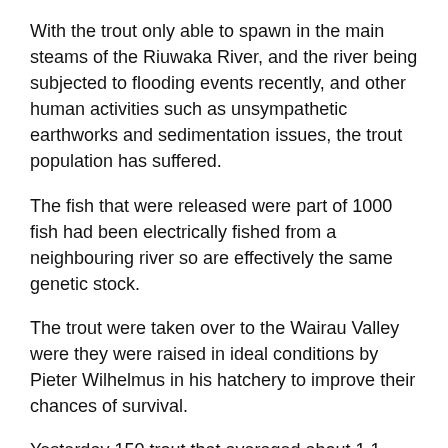With the trout only able to spawn in the main steams of the Riuwaka River, and the river being subjected to flooding events recently, and other human activities such as unsympathetic earthworks and sedimentation issues, the trout population has suffered.
The fish that were released were part of 1000 fish had been electrically fished from a neighbouring river so are effectively the same genetic stock.
The trout were taken over to the Wairau Valley were they were raised in ideal conditions by Pieter Wilhelmus in his hatchery to improve their chances of survival.
Yesterday 150 trout that averaged about 1.1 kilograms in weight were selected and tagged then trucked the 160 kilometres back to the Riuwaka and released into three sites along the river.
Fish & Game ask that anglers who catch the tagged trout release them if possible in the first year, but still let them know the tag number, date, time and location that the fish